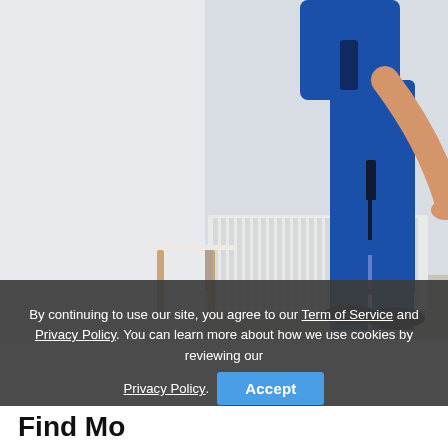[Figure (photo): A person wearing blue work overalls and black shoes, bending over near a white panel radiator heater mounted on a light gray wall. A small white table with wooden legs is visible to the left. The person appears to be a repair technician or plumber inspecting the radiator.]
By continuing to use our site, you agree to our Term of Service and Privacy Policy. You can learn more about how we use cookies by reviewing our Privacy Policy. Accept
Find Mo...